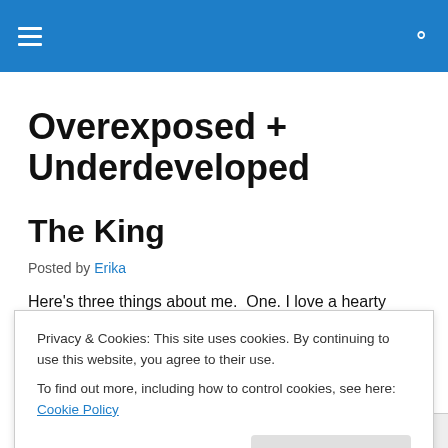[Navigation bar with hamburger menu and search icon]
Overexposed + Underdeveloped
The King
Posted by Erika
Here's three things about me. One. I love a hearty
Privacy & Cookies: This site uses cookies. By continuing to use this website, you agree to their use.
To find out more, including how to control cookies, see here: Cookie Policy
Close and accept